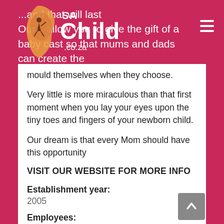SA Child .co.za
...and that will last
Our ... allow you to give the gift of a baby cast so that mums and dads can create the mould themselves when they choose.
Very little is more miraculous than that first moment when you lay your eyes upon the tiny toes and fingers of your newborn child.
Our dream is that every Mom should have this opportunity
VISIT OUR WEBSITE FOR MORE INFO
Establishment year:
2005
Employees: